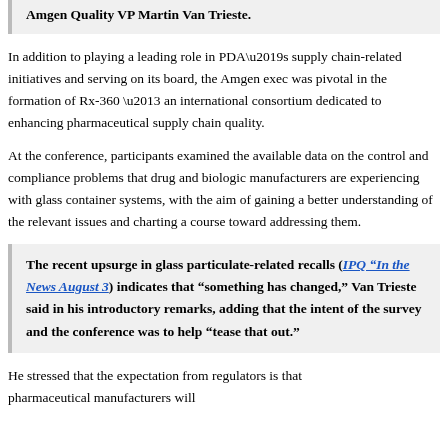Amgen Quality VP Martin Van Trieste.
In addition to playing a leading role in PDA’s supply chain-related initiatives and serving on its board, the Amgen exec was pivotal in the formation of Rx-360 – an international consortium dedicated to enhancing pharmaceutical supply chain quality.
At the conference, participants examined the available data on the control and compliance problems that drug and biologic manufacturers are experiencing with glass container systems, with the aim of gaining a better understanding of the relevant issues and charting a course toward addressing them.
The recent upsurge in glass particulate-related recalls (IPQ “In the News August 3) indicates that “something has changed,” Van Trieste said in his introductory remarks, adding that the intent of the survey and the conference was to help “tease that out.”
He stressed that the expectation from regulators is that pharmaceutical manufacturers will